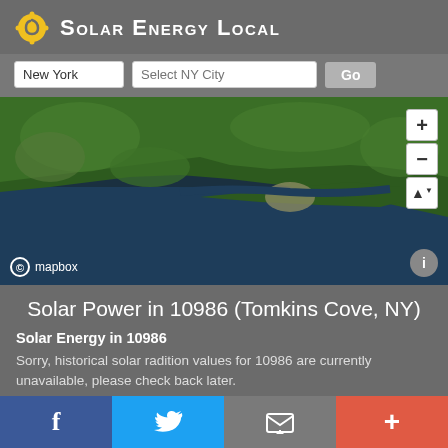Solar Energy Local
New York | Select NY City | Go
[Figure (map): Satellite map view showing northeastern United States coastline including New York and surrounding region, with zoom controls (+/-) and a compass button on the right side, and mapbox attribution at bottom left.]
Solar Power in 10986 (Tomkins Cove, NY)
Solar Energy in 10986
Sorry, historical solar radition values for 10986 are currently unavailable, please check back later.
f | Twitter bird | Email | +